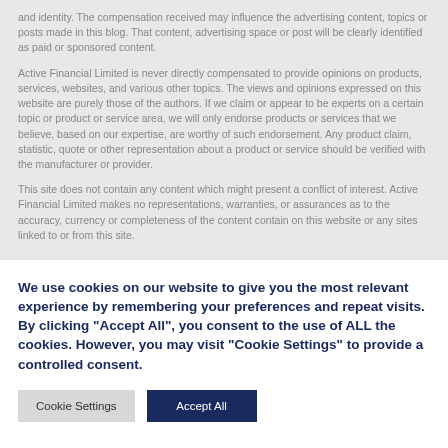and identity. The compensation received may influence the advertising content, topics or posts made in this blog. That content, advertising space or post will be clearly identified as paid or sponsored content.
Active Financial Limited is never directly compensated to provide opinions on products, services, websites, and various other topics. The views and opinions expressed on this website are purely those of the authors. If we claim or appear to be experts on a certain topic or product or service area, we will only endorse products or services that we believe, based on our expertise, are worthy of such endorsement. Any product claim, statistic, quote or other representation about a product or service should be verified with the manufacturer or provider.
This site does not contain any content which might present a conflict of interest. Active Financial Limited makes no representations, warranties, or assurances as to the accuracy, currency or completeness of the content contain on this website or any sites linked to or from this site.
We use cookies on our website to give you the most relevant experience by remembering your preferences and repeat visits. By clicking "Accept All", you consent to the use of ALL the cookies. However, you may visit "Cookie Settings" to provide a controlled consent.